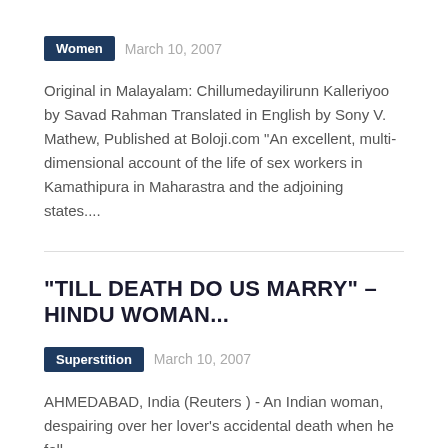Women   March 10, 2007
Original in Malayalam: Chillumedayilirunn Kalleriyoo by Savad Rahman Translated in English by Sony V. Mathew, Published at Boloji.com "An excellent, multi-dimensional account of the life of sex workers in Kamathipura in Maharastra and the adjoining states....
"TILL DEATH DO US MARRY" – HINDU WOMAN...
Superstition   March 10, 2007
AHMEDABAD, India (Reuters ) - An Indian woman, despairing over her lover's accidental death when he fell down a well, married a corpse to honour their love and then jumped into the well to be with him, police said Wednesday.